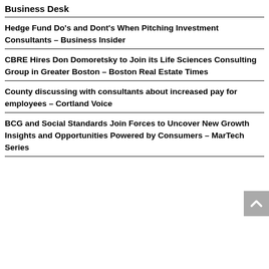Business Desk
Hedge Fund Do's and Dont's When Pitching Investment Consultants – Business Insider
CBRE Hires Don Domoretsky to Join its Life Sciences Consulting Group in Greater Boston – Boston Real Estate Times
County discussing with consultants about increased pay for employees – Cortland Voice
BCG and Social Standards Join Forces to Uncover New Growth Insights and Opportunities Powered by Consumers – MarTech Series